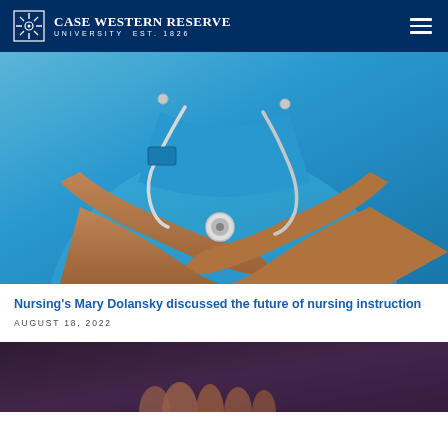Case Western Reserve University — Navigation bar
[Figure (photo): Close-up photo of a nurse in blue scrubs with arms crossed and a stethoscope around their neck]
Nursing's Mary Dolansky discussed the future of nursing instruction
AUGUST 18, 2022
[Figure (photo): Partial photo visible at bottom, dark/purple toned background with a hand visible]